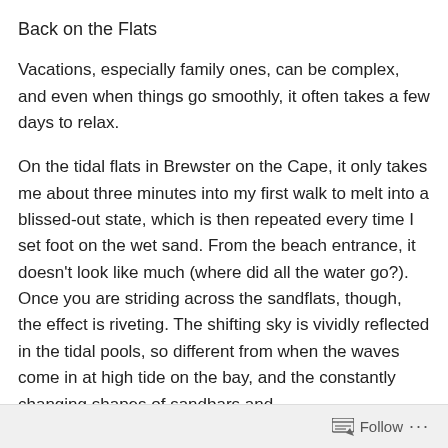Back on the Flats
Vacations, especially family ones, can be complex, and even when things go smoothly, it often takes a few days to relax.
On the tidal flats in Brewster on the Cape, it only takes me about three minutes into my first walk to melt into a blissed-out state, which is then repeated every time I set foot on the wet sand. From the beach entrance, it doesn't look like much (where did all the water go?). Once you are striding across the sandflats, though, the effect is riveting. The shifting sky is vividly reflected in the tidal pools, so different from when the waves come in at high tide on the bay, and the constantly changing shapes of sandbars and
Follow